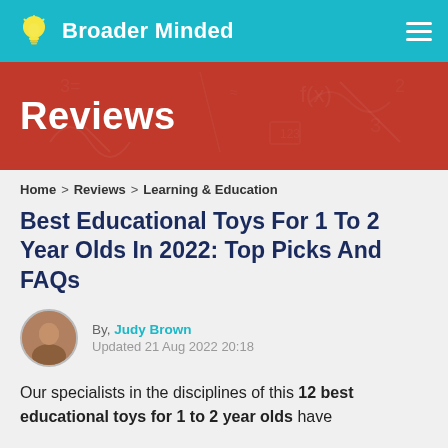Broader Minded
[Figure (illustration): Reviews banner with red background and faint mathematical/educational doodles]
Home > Reviews > Learning & Education
Best Educational Toys For 1 To 2 Year Olds In 2022: Top Picks And FAQs
By, Judy Brown
Updated 21 Aug 2022 20:18
Our specialists in the disciplines of this 12 best educational toys for 1 to 2 year olds have